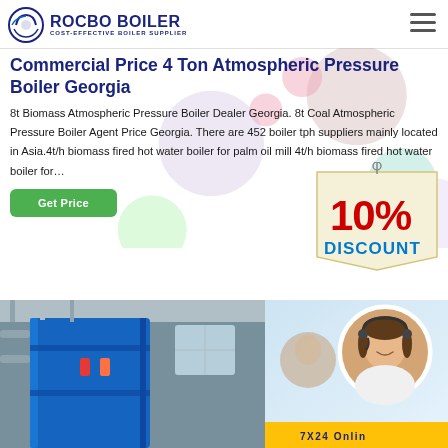ROCBO BOILER — COST-EFFECTIVE BOILER SUPPLIER
Commercial Price 4 Ton Atmospheric Pressure Boiler Georgia
8t Biomass Atmospheric Pressure Boiler Dealer Georgia. 8t Coal Atmospheric Pressure Boiler Agent Price Georgia. There are 452 boiler tph suppliers mainly located in Asia.4t/h biomass fired hot water boiler for palm oil mill 4t/h biomass fired hot water boiler for...
[Figure (infographic): 10% DISCOUNT badge/sign in red and blue text on a cream/yellow tag background]
[Figure (photo): Industrial boiler room with blue equipment and piping on the left; customer service representative woman with headset on the right with a yellow online chat bar at bottom]